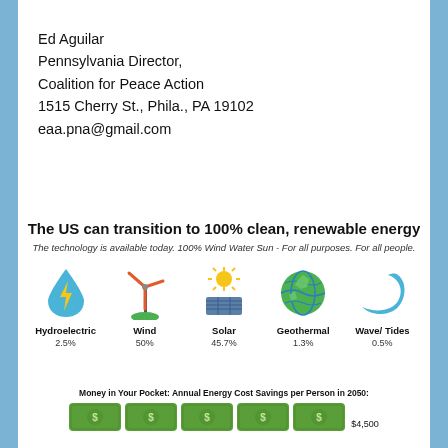Ed Aguilar
Pennsylvania Director,
Coalition for Peace Action
1515 Cherry St., Phila., PA 19102
eaa.pna@gmail.com
[Figure (infographic): Infographic showing renewable energy sources: Hydroelectric 2.5%, Wind 50%, Solar 45.7%, Geothermal 1.3%, Wave/Tides 0.5% with icons for each source. Title: The US can transition to 100% clean, renewable energy. Subtitle: The technology is available today. 100% Wind Water Sun - For all purposes. For all people.]
Money in Your Pocket: Annual Energy Cost Savings per Person in 2050:
[Figure (infographic): Five green dollar bill icons representing $4,500 annual energy cost savings per person in 2050]